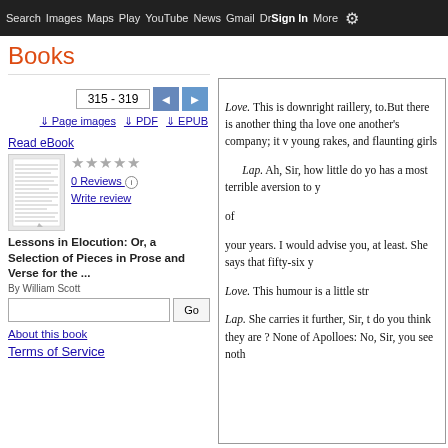Search  Images  Maps  Play  YouTube  News  Gmail  Drive  Sign in  More
Books
315 - 319
Page images  PDF  EPUB
Read eBook
[Figure (photo): Thumbnail image of book cover/page]
0 Reviews
Write review
Lessons in Elocution: Or, a Selection of Pieces in Prose and Verse for the ...
By William Scott
About this book
Terms of Service
Love. This is downright raillery, to.But there is another thing tha love one another's company; it v young rakes, and flaunting girls

Lap. Ah, Sir, how little do yo has a most terrible aversion to y of

your years. I would advise you, at least. She says that fifty-six y

Love. This humour is a little str

Lap. She carries it further, Sir, t do you think they are ? None of Apolloes: No, Sir, you see noth